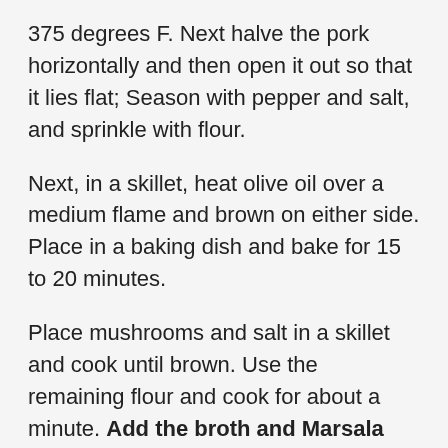375 degrees F. Next halve the pork horizontally and then open it out so that it lies flat; Season with pepper and salt, and sprinkle with flour.
Next, in a skillet, heat olive oil over a medium flame and brown on either side. Place in a baking dish and bake for 15 to 20 minutes.
Place mushrooms and salt in a skillet and cook until brown. Use the remaining flour and cook for about a minute. Add the broth and Marsala and boil. Add the cream and continue to boil until the sauce thickens. Turn off the heat and add lemon juice and parsley.
Cook the remaining spinach using the remaining oil and add lemon juice an season. Slice the pork